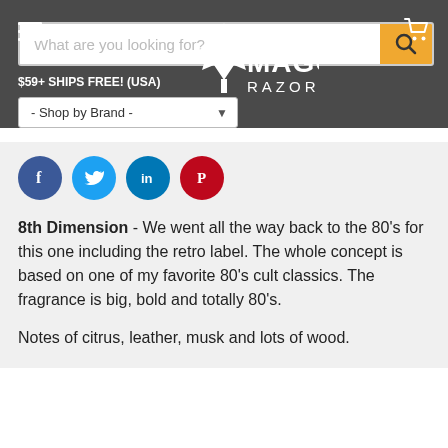Maggard Razors
$59+ SHIPS FREE! (USA)
[Figure (screenshot): Social media share icons: Facebook (blue circle), Twitter (light blue circle), LinkedIn (dark blue circle), Pinterest (red circle)]
8th Dimension - We went all the way back to the 80's for this one including the retro label. The whole concept is based on one of my favorite 80's cult classics. The fragrance is big, bold and totally 80's.
Notes of citrus, leather, musk and lots of wood.